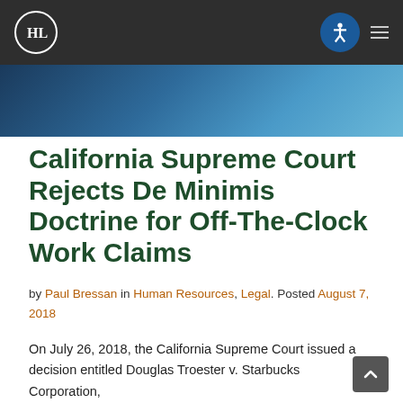HHL Law logo and navigation header
[Figure (photo): Hero image with blue gradient background]
California Supreme Court Rejects De Minimis Doctrine for Off-The-Clock Work Claims
by Paul Bressan in Human Resources, Legal. Posted August 7, 2018
On July 26, 2018, the California Supreme Court issued a decision entitled Douglas Troester v. Starbucks Corporation,